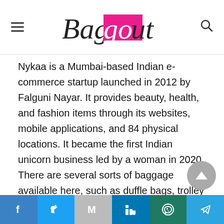Baggout
Nykaa is a Mumbai-based Indian e-commerce startup launched in 2012 by Falguni Nayar. It provides beauty, health, and fashion items through its websites, mobile applications, and 84 physical locations. It became the first Indian unicorn business led by a woman in 2020. There are several sorts of baggage available here, such as duffle bags, trolley bags, soft side, hard side, and many more. Their items are one-of-a-kind and fashionable.
Social share bar: Facebook, Twitter, Mail, LinkedIn, WhatsApp, Telegram